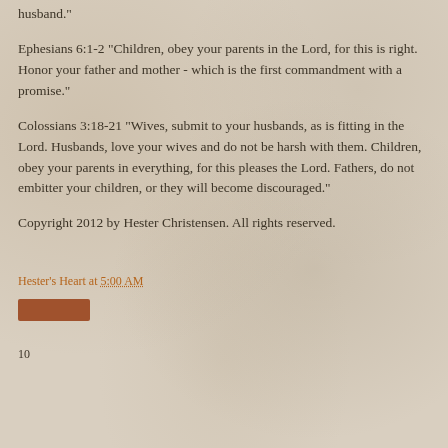husband."
Ephesians 6:1-2 "Children, obey your parents in the Lord, for this is right.  Honor your father and mother - which is the first commandment with a promise."
Colossians 3:18-21 "Wives, submit to your husbands, as is fitting in the Lord.  Husbands, love your wives and do not be harsh with them.  Children, obey your parents in everything, for this pleases the Lord.  Fathers, do not embitter your children, or they will become discouraged."
Copyright 2012 by Hester Christensen.  All rights reserved.
Hester's Heart at 5:00 AM
[Figure (other): Orange/brown share button]
10